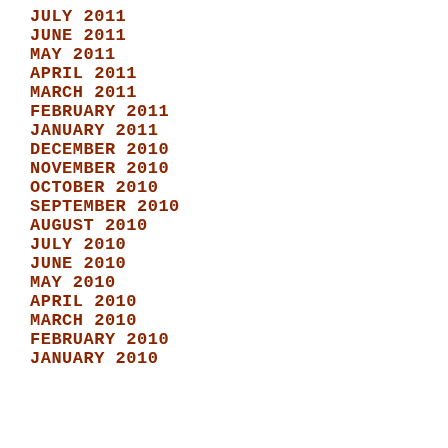JULY 2011
JUNE 2011
MAY 2011
APRIL 2011
MARCH 2011
FEBRUARY 2011
JANUARY 2011
DECEMBER 2010
NOVEMBER 2010
OCTOBER 2010
SEPTEMBER 2010
AUGUST 2010
JULY 2010
JUNE 2010
MAY 2010
APRIL 2010
MARCH 2010
FEBRUARY 2010
JANUARY 2010